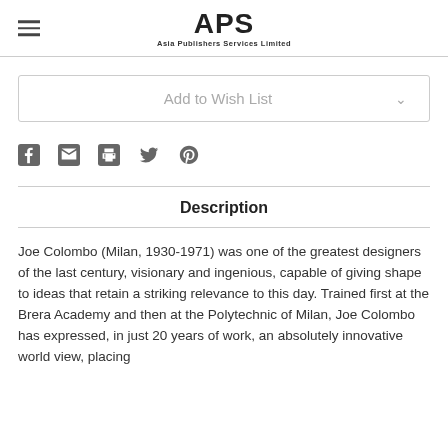APS Asia Publishers Services Limited
Add to Wish List
[Figure (infographic): Social sharing icons: Facebook, Email, Print, Twitter, Pinterest]
Description
Joe Colombo (Milan, 1930-1971) was one of the greatest designers of the last century, visionary and ingenious, capable of giving shape to ideas that retain a striking relevance to this day. Trained first at the Brera Academy and then at the Polytechnic of Milan, Joe Colombo has expressed, in just 20 years of work, an absolutely innovative world view, placing